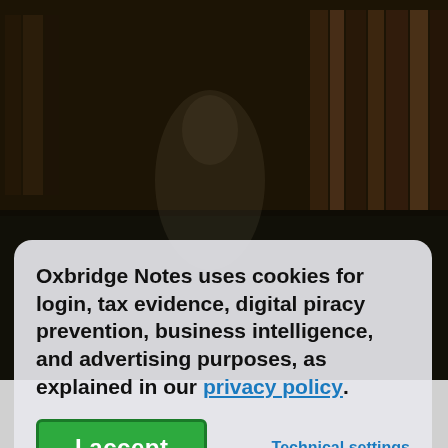[Figure (photo): Dark background showing a bookshelf with books and a faint figure, serving as the backdrop for a cookie consent modal dialog on the Oxbridge Notes website.]
Oxbridge Notes uses cookies for login, tax evidence, digital piracy prevention, business intelligence, and advertising purposes, as explained in our privacy policy.
I accept
Technical settings